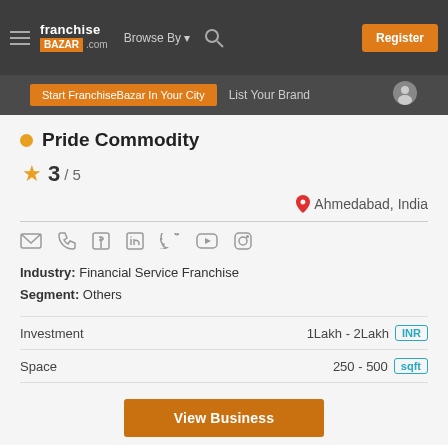[Figure (screenshot): FranchiseBazar.com website header with logo, Browse By dropdown, search icon, and Register button]
[Figure (screenshot): Sub-navigation bar with Start FranchiseBazar In Your City button, List Your Brand text, and user icon]
Pride Commodity
3 / 5
Ahmedabad, India
Industry: Financial Service Franchise
Segment: Others
|  |  |
| --- | --- |
| Investment | 1Lakh - 2Lakh INR |
| Space | 250 - 500 sqft |
View Business